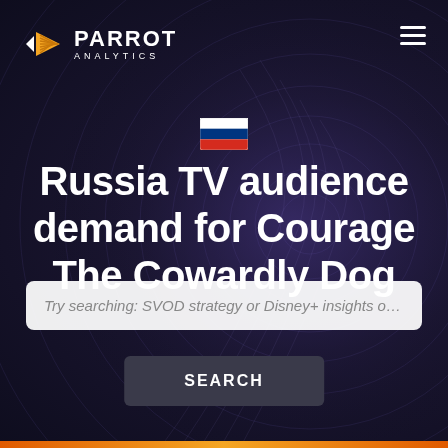[Figure (logo): Parrot Analytics logo with stylized parrot icon in gold/yellow and white text reading PARROT ANALYTICS]
[Figure (illustration): Russian flag emoji/icon]
Russia TV audience demand for Courage The Cowardly Dog
Try searching: SVOD strategy or Disney+ insights or C
SEARCH
[Figure (infographic): Spiral/radial dark background pattern in dark purple and navy tones]